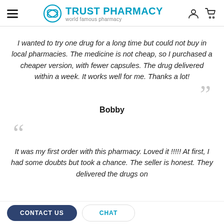TRUST PHARMACY – world famous pharmacy
I wanted to try one drug for a long time but could not buy in local pharmacies. The medicine is not cheap, so I purchased a cheaper version, with fewer capsules. The drug delivered within a week. It works well for me. Thanks a lot!
Bobby
It was my first order with this pharmacy. Loved it !!!!! At first, I had some doubts but took a chance. The seller is honest. They delivered the drugs on